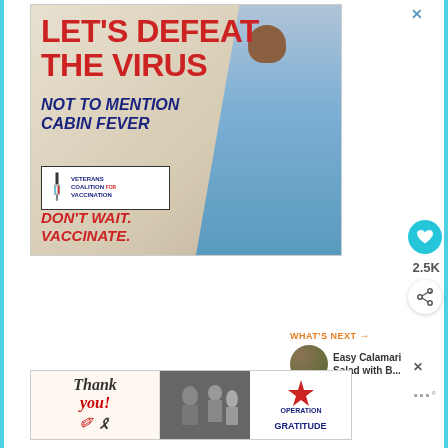[Figure (photo): Veterans Coalition for Vaccination advertisement featuring a Black woman flexing her arm showing a vaccination bandage, wearing a colorful face mask. Text reads 'LET'S DEFEAT THE VIRUS / NOT TO MENTION CABIN FEVER / Veterans Coalition for Vaccination / DON'T WAIT. VACCINATE.' with Veterans Coalition for Vaccination logo.]
2.5K
WHAT'S NEXT → Easy Calamari Salad with B...
[Figure (photo): Operation Gratitude advertisement with 'Thank you!' handwritten text with a pencil graphic and an American flag ribbon, soldiers image in center, and Operation Gratitude logo on the right side.]